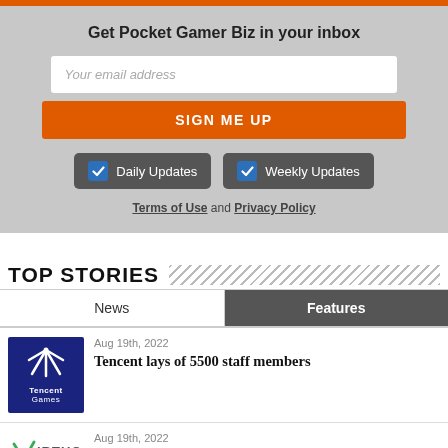Get Pocket Gamer Biz in your inbox
Your email address
SIGN ME UP
Daily Updates
Weekly Updates
Terms of Use and Privacy Policy
TOP STORIES
News
Features
Aug 19th, 2022
Tencent lays of 5500 staff members
Aug 19th, 2022
Virtuos launches new studio in Kuala Lumpur to bolster Southeast Asian presence